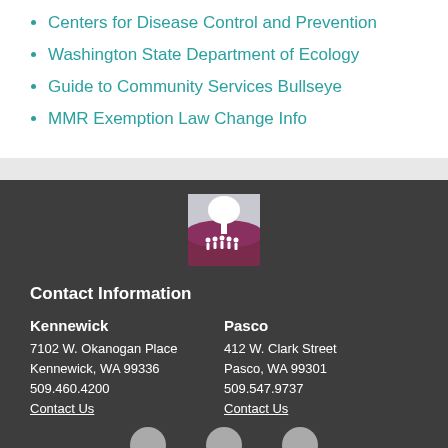Centers for Disease Control and Prevention
Washington State Department of Ecology
Guide to Community Services Bullseye
MMR Exemption Law Change Info
[Figure (logo): Organization logo with stylized tree and people silhouettes on a purple/maroon landscape with white sky background]
Contact Information
Kennewick
7102 W. Okanogan Place
Kennewick, WA 99336
509.460.4200
Contact Us
Pasco
412 W. Clark Street
Pasco, WA 99301
509.547.9737
Contact Us